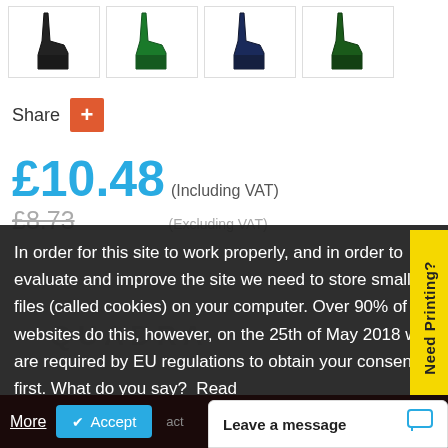[Figure (photo): Four product thumbnail images showing sports boot/shin guard in black, green, navy blue, and dark green colors]
Share +
£10.48 (Including VAT)
£8.73 (Excluding VAT)
In order for this site to work properly, and in order to evaluate and improve the site we need to store small files (called cookies) on your computer. Over 90% of all websites do this, however, on the 25th of May 2018 we are required by EU regulations to obtain your consent first. What do you say?  Read More  ✔ Accept
Leave a message
Need Printing?